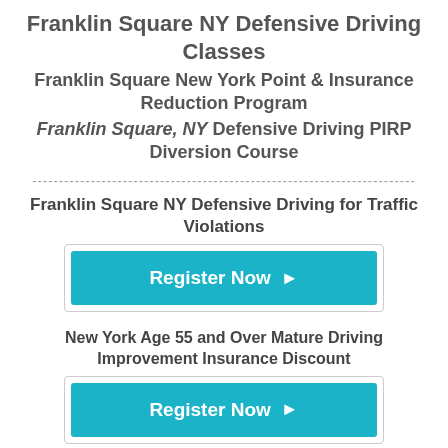Franklin Square NY Defensive Driving Classes
Franklin Square New York Point & Insurance Reduction Program
Franklin Square, NY Defensive Driving PIRP Diversion Course
------------------------------------------------------------------------
Franklin Square NY Defensive Driving for Traffic Violations
[Figure (other): Register Now button with right-pointing arrow, teal/cyan background]
New York Age 55 and Over Mature Driving Improvement Insurance Discount
[Figure (other): Register Now button with right-pointing arrow, teal/cyan background]